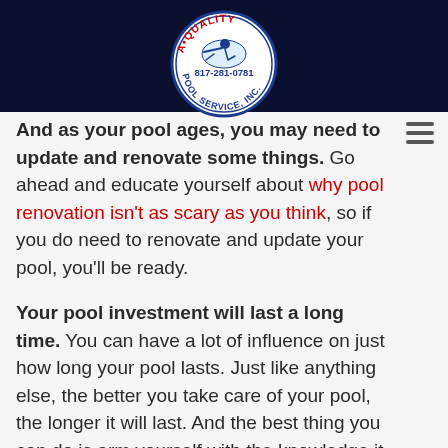[Figure (logo): A-Quality Pool Service Inc. circular logo with swimmer illustration and phone number 817-281-0781]
And as your pool ages, you may need to update and renovate some things. Go ahead and educate yourself about why pool renovation isn't as scary as you think, so if you do need to renovate and update your pool, you'll be ready.
Your pool investment will last a long time. You can have a lot of influence on just how long your pool lasts. Just like anything else, the better you take care of your pool, the longer it will last. And the best thing you can do is arm yourself with the knowledge it takes to be a responsible pool owner.